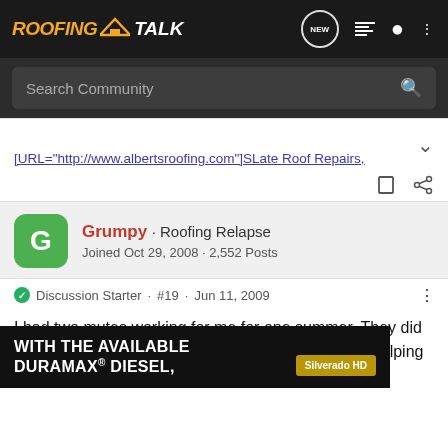[Figure (screenshot): RoofingTalk website header/navigation bar with logo and icons]
Search Community
[URL="http://www.albertsroofing.com"]SLate Roof Repairs,
Grumpy · Roofing Relapse
Joined Oct 29, 2008 · 2,552 Posts
Discussion Starter · #19 · Jun 11, 2009
I had two mutes working for me for one summer. They did good work and the customers loved that we were "helping them out", as the c
[Figure (screenshot): Advertisement overlay: WITH THE AVAILABLE DURAMAX® DIESEL, Silverado HD]